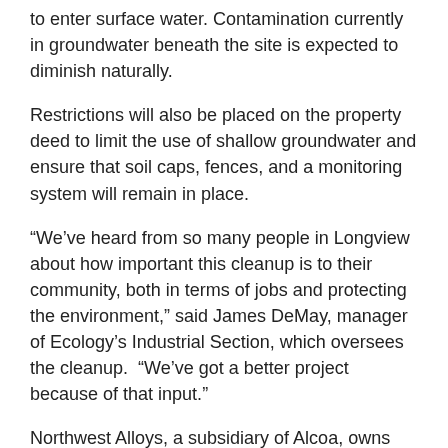to enter surface water. Contamination currently in groundwater beneath the site is expected to diminish naturally.
Restrictions will also be placed on the property deed to limit the use of shallow groundwater and ensure that soil caps, fences, and a monitoring system will remain in place.
“We’ve heard from so many people in Longview about how important this cleanup is to their community, both in terms of jobs and protecting the environment,” said James DeMay, manager of Ecology’s Industrial Section, which oversees the cleanup.  “We’ve got a better project because of that input.”
Northwest Alloys, a subsidiary of Alcoa, owns the property. Millennium Bulk Terminals Longview is